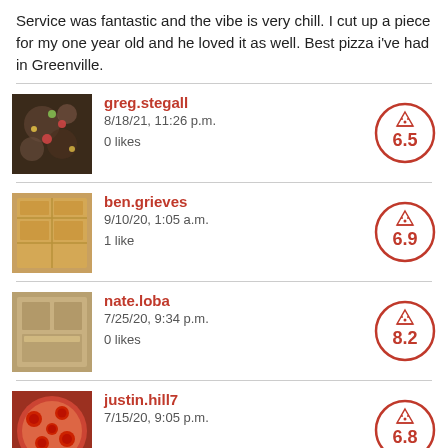Service was fantastic and the vibe is very chill. I cut up a piece for my one year old and he loved it as well. Best pizza i've had in Greenville.
greg.stegall | 8/18/21, 11:26 p.m. | 0 likes | Score: 6.5
ben.grieves | 9/10/20, 1:05 a.m. | 1 like | Score: 6.9
nate.loba | 7/25/20, 9:34 p.m. | 0 likes | Score: 8.2
justin.hill7 | 7/15/20, 9:05 p.m. | Score: 6.8